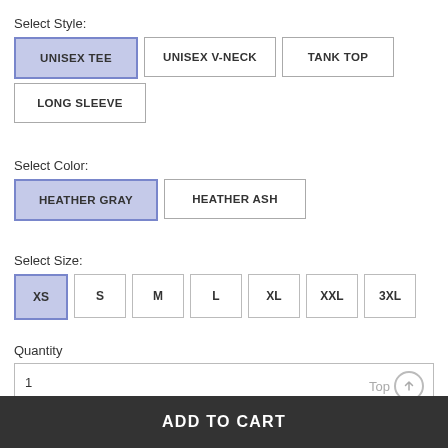Select Style:
UNISEX TEE (selected), UNISEX V-NECK, TANK TOP, LONG SLEEVE
Select Color:
HEATHER GRAY (selected), HEATHER ASH
Select Size:
XS (selected), S, M, L, XL, XXL, 3XL
Quantity
1
Top
ADD TO CART